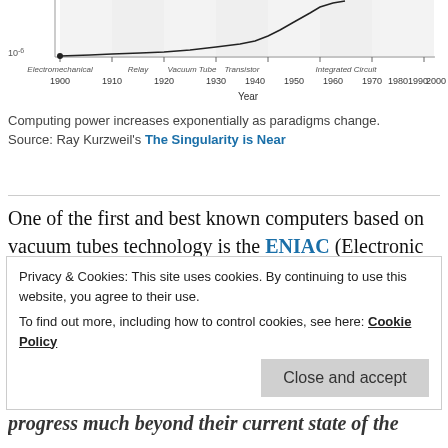[Figure (continuous-plot): Line chart showing computing power increasing exponentially over time from 1900 to 2000, with x-axis labeled by year and technology era (Electromechanical, Relay, Vacuum Tube, Transistor, Integrated Circuit). Y-axis shows 10^-6 at bottom. The line curves sharply upward.]
Computing power increases exponentially as paradigms change. Source: Ray Kurzweil's The Singularity is Near
One of the first and best known computers based on vacuum tubes technology is the ENIAC (Electronic Numerical Integrator and Computer), which weighed 30 tons and used 200 kilowatts of electricity. It could perform 5,000 calculations a second – a task which every smartphone today exceeds without breaking a sweat... since the
Privacy & Cookies: This site uses cookies. By continuing to use this website, you agree to their use.
To find out more, including how to control cookies, see here: Cookie Policy
progress much beyond their current state of the